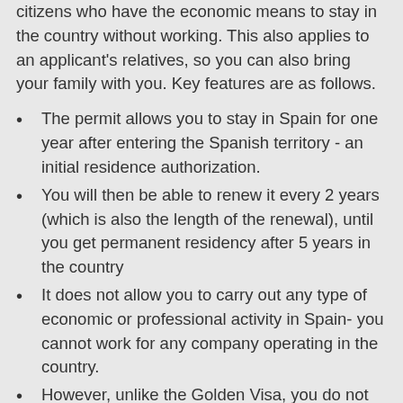citizens who have the economic means to stay in the country without working. This also applies to an applicant's relatives, so you can also bring your family with you. Key features are as follows.
The permit allows you to stay in Spain for one year after entering the Spanish territory - an initial residence authorization.
You will then be able to renew it every 2 years (which is also the length of the renewal), until you get permanent residency after 5 years in the country
It does not allow you to carry out any type of economic or professional activity in Spain- you cannot work for any company operating in the country.
However, unlike the Golden Visa, you do not